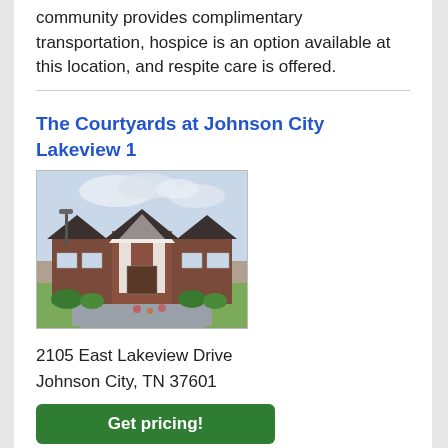community provides complimentary transportation, hospice is an option available at this location, and respite care is offered.
The Courtyards at Johnson City Lakeview 1
[Figure (photo): Exterior photo of The Courtyards at Johnson City Lakeview 1 facility building — a brick building with white trim, multiple peaked rooflines, a covered entrance, and a circular driveway with landscaping in front, under a cloudy sky.]
2105 East Lakeview Drive
Johnson City, TN 37601
Get pricing!